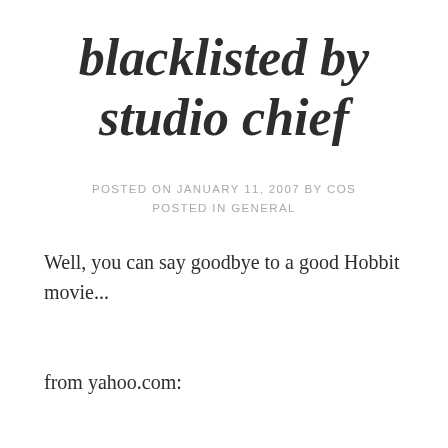blacklisted by studio chief
POSTED ON JANUARY 11, 2007 BY COS
POSTED IN GENERAL
Well, you can say goodbye to a good Hobbit movie...
from yahoo.com: